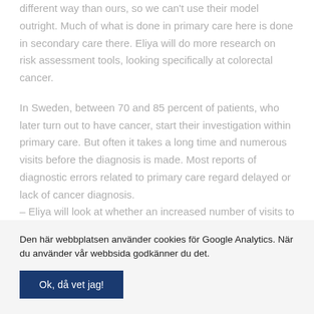different way than ours, so we can't use their model outright. Much of what is done in primary care here is done in secondary care there. Eliya will do more research on risk assessment tools, looking specifically at colorectal cancer.
In Sweden, between 70 and 85 percent of patients, who later turn out to have cancer, start their investigation within primary care. But often it takes a long time and numerous visits before the diagnosis is made. Most reports of diagnostic errors related to primary care regard delayed or lack of cancer diagnosis.
– Eliya will look at whether an increased number of visits to
Den här webbplatsen använder cookies för Google Analytics. När du använder vår webbsida godkänner du det.
Ok, då vet jag!